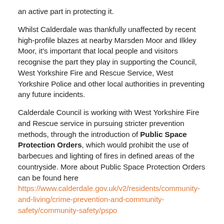an active part in protecting it.
Whilst Calderdale was thankfully unaffected by recent high-profile blazes at nearby Marsden Moor and Ilkley Moor, it's important that local people and visitors recognise the part they play in supporting the Council, West Yorkshire Fire and Rescue Service, West Yorkshire Police and other local authorities in preventing any future incidents.
Calderdale Council is working with West Yorkshire Fire and Rescue service in pursuing stricter prevention methods, through the introduction of Public Space Protection Orders, which would prohibit the use of barbecues and lighting of fires in defined areas of the countryside. More about Public Space Protection Orders can be found here https://www.calderdale.gov.uk/v2/residents/community-and-living/crime-prevention-and-community-safety/community-safety/pspo
A formal consultation was launched on Wednesday 8 May 2019 for people to have their say on these plans. To have your say please complete the feedback form on this web page https://www.calderdale.gov.uk/v2/residents/community-and-living/crime-prevention-and-community-safety/community-